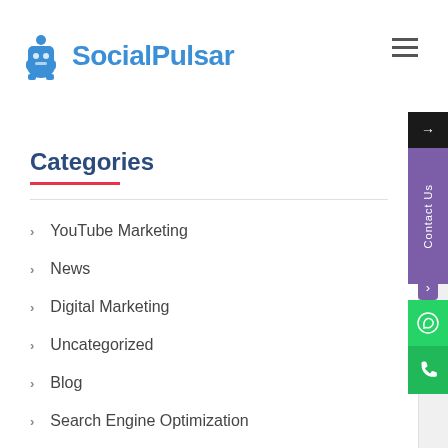SocialPulsar
Categories
YouTube Marketing
News
Digital Marketing
Uncategorized
Blog
Search Engine Optimization
Infographic